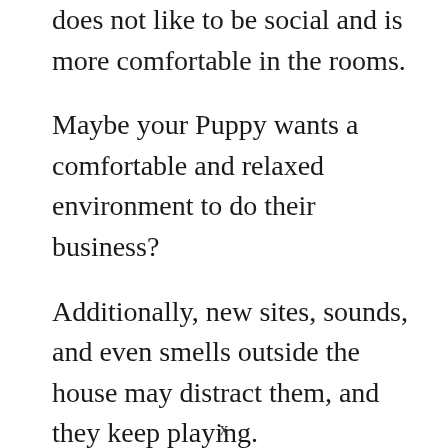does not like to be social and is more comfortable in the rooms.
Maybe your Puppy wants a comfortable and relaxed environment to do their business?
Additionally, new sites, sounds, and even smells outside the house may distract them, and they keep playing.
x